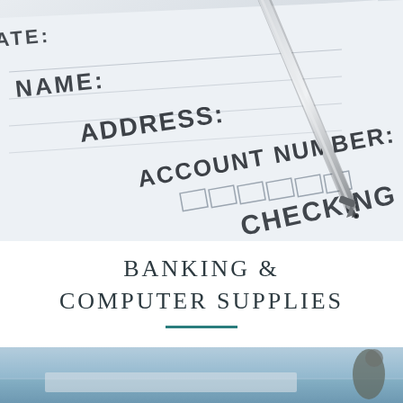[Figure (photo): Close-up photo of a bank account application form with fields for NAME, ADDRESS, ACCOUNT NUMBER, and CHECKING, with a silver ballpoint pen resting on the form]
BANKING & COMPUTER SUPPLIES
[Figure (photo): Partial bottom photo showing a blurred outdoor scene with blue sky and water, possibly a coastal or lakefront setting, with a person partially visible on the right]